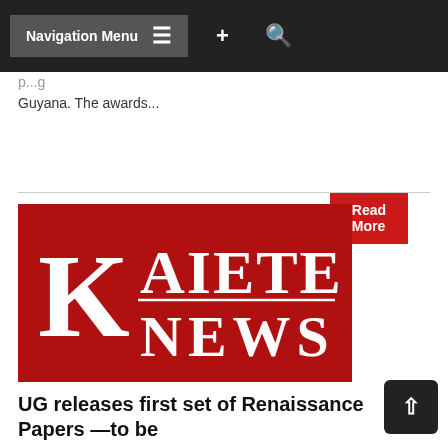Navigation Menu
Guyana. The awards...
Read More
[Figure (logo): Kaieteur News logo — white serif letters K, AIETEUR / NEWS on a red background]
UG releases first set of Renaissance Papers —to be